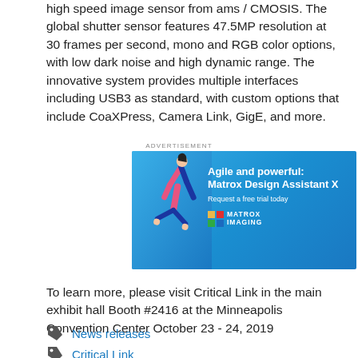high speed image sensor from ams / CMOSIS. The global shutter sensor features 47.5MP resolution at 30 frames per second, mono and RGB color options, with low dark noise and high dynamic range. The innovative system provides multiple interfaces including USB3 as standard, with custom options that include CoaXPress, Camera Link, GigE, and more.
[Figure (illustration): Advertisement banner for Matrox Design Assistant X showing a gymnast performing a handstand against a blue gradient background. Text reads: 'Agile and powerful: Matrox Design Assistant X. Request a free trial today.' with the Matrox Imaging logo.]
To learn more, please visit Critical Link in the main exhibit hall Booth #2416 at the Minneapolis Convention Center October 23 - 24, 2019
News releases
Critical Link